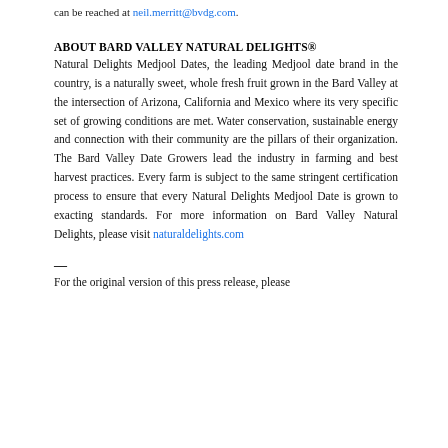can be reached at neil.merritt@bvdg.com.
ABOUT BARD VALLEY NATURAL DELIGHTS®
Natural Delights Medjool Dates, the leading Medjool date brand in the country, is a naturally sweet, whole fresh fruit grown in the Bard Valley at the intersection of Arizona, California and Mexico where its very specific set of growing conditions are met. Water conservation, sustainable energy and connection with their community are the pillars of their organization. The Bard Valley Date Growers lead the industry in farming and best harvest practices. Every farm is subject to the same stringent certification process to ensure that every Natural Delights Medjool Date is grown to exacting standards. For more information on Bard Valley Natural Delights, please visit naturaldelights.com
—
For the original version of this press release, please